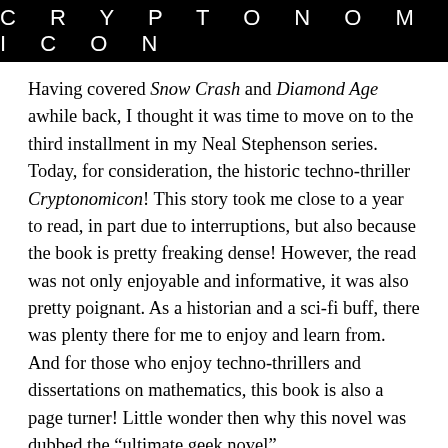[Figure (other): Black banner header with the word CRYPTONOMICON in white spaced uppercase letters]
Having covered Snow Crash and Diamond Age awhile back, I thought it was time to move on to the third installment in my Neal Stephenson series. Today, for consideration, the historic techno-thriller Cryptonomicon! This story took me close to a year to read, in part due to interruptions, but also because the book is pretty freaking dense! However, the read was not only enjoyable and informative, it was also pretty poignant. As a historian and a sci-fi buff, there was plenty there for me to enjoy and learn from. And for those who enjoy techno-thrillers and dissertations on mathematics, this book is also a page turner! Little wonder then why this novel was dubbed the “ultimate geek novel”.